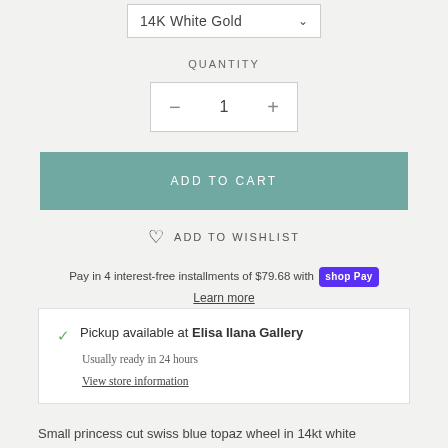14K White Gold
QUANTITY
− 1 +
ADD TO CART
ADD TO WISHLIST
Pay in 4 interest-free installments of $79.68 with Shop Pay
Learn more
Pickup available at Elisa Ilana Gallery
Usually ready in 24 hours
View store information
Small princess cut swiss blue topaz wheel in 14kt white